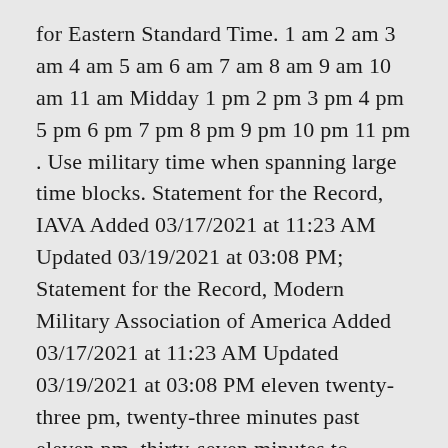for Eastern Standard Time. 1 am 2 am 3 am 4 am 5 am 6 am 7 am 8 am 9 am 10 am 11 am Midday 1 pm 2 pm 3 pm 4 pm 5 pm 6 pm 7 pm 8 pm 9 pm 10 pm 11 pm . Use military time when spanning large time blocks. Statement for the Record, IAVA Added 03/17/2021 at 11:23 AM Updated 03/19/2021 at 03:08 PM; Statement for the Record, Modern Military Association of America Added 03/17/2021 at 11:23 AM Updated 03/19/2021 at 03:08 PM eleven twenty-three pm, twenty-three minutes past eleven pm, thirty-seven minutes to midnight, thirty-seven minutes to twelve am. Most countries prefer the 24 hour clock method, but the 12 hour clock is widely used in Latin America and English-speaking countries after